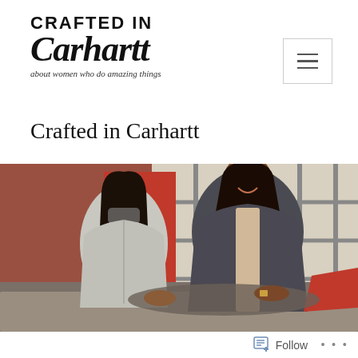CRAFTED IN
Carhartt
about women who do amazing things
Crafted in Carhartt
[Figure (photo): Two women smiling and working together at a table in an industrial space with large grid windows. One woman wears a grey hoodie, the other wears a dark jacket over a light top. They appear to be crafting or sewing with fabric on the table.]
Follow ...